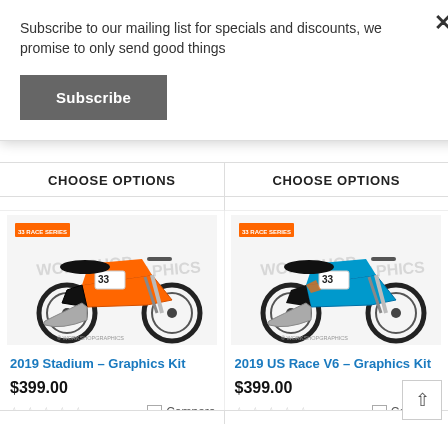Subscribe to our mailing list for specials and discounts, we promise to only send good things
Subscribe
CHOOSE OPTIONS
CHOOSE OPTIONS
[Figure (photo): Motocross dirt bike with orange and black graphics kit, number 33, Workshop Graphics watermark]
[Figure (photo): Motocross dirt bike with blue and orange graphics kit, Workshop Graphics watermark]
2019 Stadium – Graphics Kit
$399.00
Compare
2019 US Race V6 – Graphics Kit
$399.00
Compare